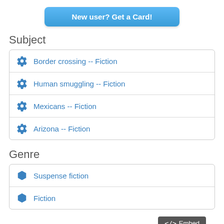[Figure (other): Blue rounded button labeled 'New user? Get a Card!']
Subject
Border crossing -- Fiction
Human smuggling -- Fiction
Mexicans -- Fiction
Arizona -- Fiction
Genre
Suspense fiction
Fiction
[Figure (other): Dark grey button with code brackets icon labeled 'Embed']
Library Locations